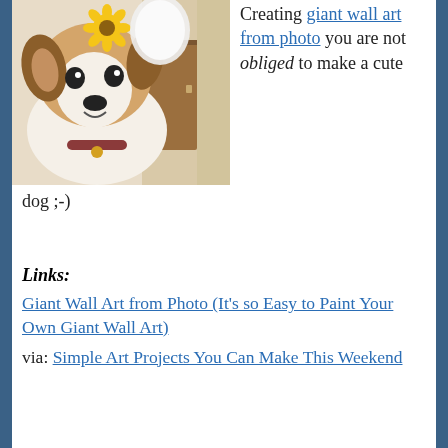[Figure (photo): A large painted mural of a cartoon dog (Jack Russell Terrier) with a sunflower on its head, painted on a wall in a hallway or room interior.]
Creating giant wall art from photo you are not obliged to make a cute dog ;-)
Links:
Giant Wall Art from Photo (It’s so Easy to Paint Your Own Giant Wall Art)
via: Simple Art Projects You Can Make This Weekend